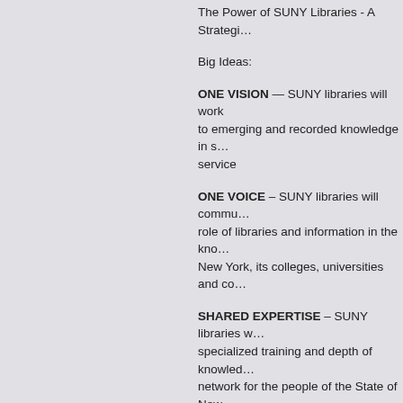The Power of SUNY Libraries - A Strategi…
Big Ideas:
ONE VISION — SUNY libraries will work to emerging and recorded knowledge in s… service
ONE VOICE – SUNY libraries will commu… role of libraries and information in the kno… New York, its colleges, universities and co…
SHARED EXPERTISE – SUNY libraries w… specialized training and depth of knowled… network for the people of the State of New…
SHARED RESOURCES – SUNY libraries… evaluate innovative strategies, policies ar… the information resources of all SUNY libr…
****************************************
ONE VISION — SUNY libraries will work to emerging and recorded knowledge in s… service